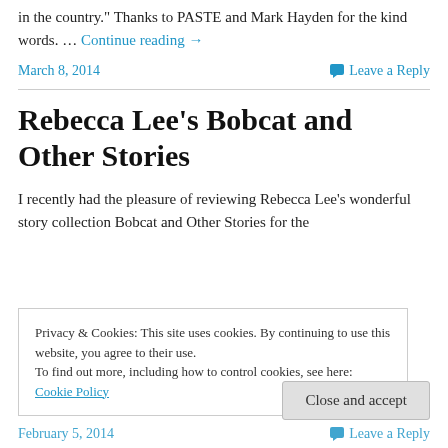in the country." Thanks to PASTE and Mark Hayden for the kind words. … Continue reading →
March 8, 2014   Leave a Reply
Rebecca Lee's Bobcat and Other Stories
I recently had the pleasure of reviewing Rebecca Lee's wonderful story collection Bobcat and Other Stories for the
Privacy & Cookies: This site uses cookies. By continuing to use this website, you agree to their use. To find out more, including how to control cookies, see here: Cookie Policy
Close and accept
February 5, 2014   Leave a Reply